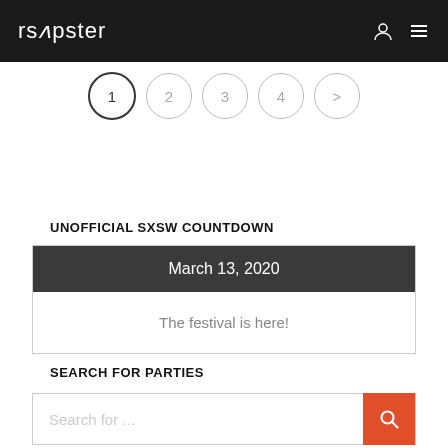rsapster
[Figure (other): Pagination circles showing pages 1, 2, 3, 4 and a next arrow, with page 1 active/selected]
UNOFFICIAL SXSW COUNTDOWN
March 13, 2020
The festival is here!
SEARCH FOR PARTIES
Search for ...